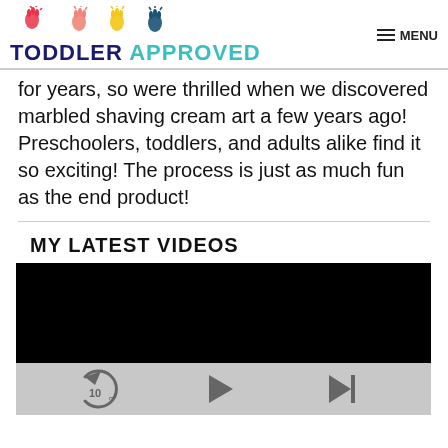TODDLER APPROVED — MENU
for years, so were thrilled when we discovered marbled shaving cream art a few years ago! Preschoolers, toddlers, and adults alike find it so exciting! The process is just as much fun as the end product!
MY LATEST VIDEOS
[Figure (screenshot): Black video player screen with playback controls (replay 10s, play, skip next) on a gray bar below.]